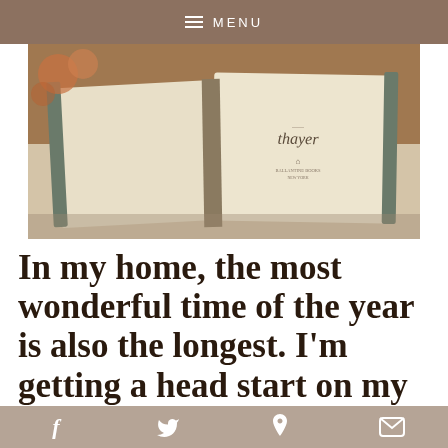MENU
[Figure (photo): An open book lying on white fabric/sheets, showing the text 'thayer' on the right page with a small publisher logo below it.]
In my home, the most wonderful time of the year is also the longest. I'm getting a head start on my list of Christmas
f  Twitter  P  Mail